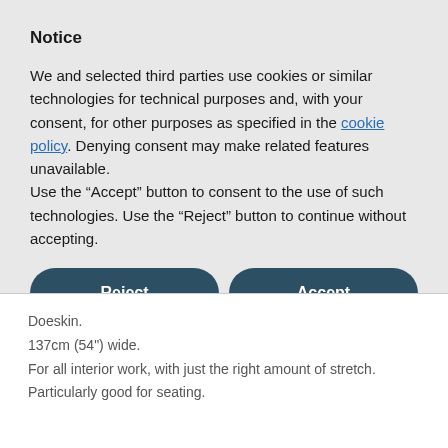Notice
We and selected third parties use cookies or similar technologies for technical purposes and, with your consent, for other purposes as specified in the cookie policy. Denying consent may make related features unavailable.
Use the “Accept” button to consent to the use of such technologies. Use the “Reject” button to continue without accepting.
Reject
Accept
Learn more and customise
Doeskin.
137cm (54") wide.
For all interior work, with just the right amount of stretch.
Particularly good for seating.